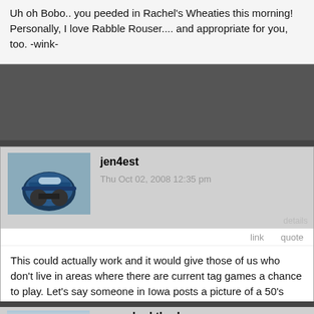Uh oh Bobo.. you peeded in Rachel's Wheaties this morning! Personally, I love Rabble Rouser.... and appropriate for you, too. -wink-
jen4est
Thu Oct 02, 2008 12:35 pm
This could actually work and it would give those of us who don't live in areas where there are current tag games a chance to play. Let's say someone in Iowa posts a picture of a 50's diner, well the first person to post a picture of a similar type diner in their city would win the tag, same could go for murals, sculptures, lakes, etc. What do you guys think?
Last edited by jen4est on Thu Oct 02, 2008 2:48 pm; edited 1 time in total
oopsclunkthud
Thu Oct 02, 2008 1:20 pm